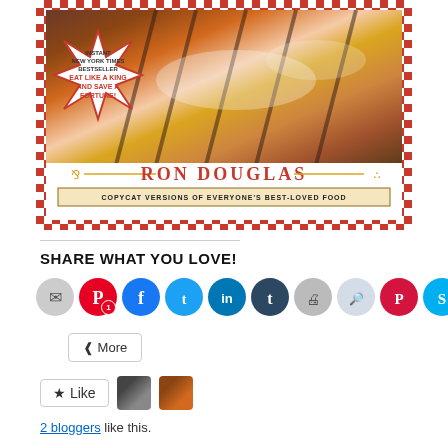[Figure (photo): Book cover for Ron Douglas cookbook showing grilled chicken, red and white checkerboard border, starburst badge saying 'Instant New York Times Bestseller - Eat Like A King And Save A Fortune!', author name RON DOUGLAS with fork and spoon, subtitle 'Copycat Versions Of Everyone's Best-Loved Food']
SHARE WHAT YOU LOVE!
[Figure (screenshot): Row of social media sharing icon circles: email (gray), Pinterest (red, badge 1), Facebook (blue), Twitter (light blue), LinkedIn (dark blue), Tumblr (dark navy), Print (gray), Reddit (light blue-gray), Pocket (red), Skype (light blue)]
More
Like
2 bloggers like this.